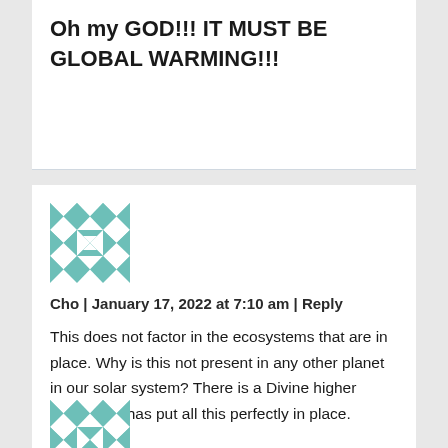Oh my GOD!!! IT MUST BE GLOBAL WARMING!!!
[Figure (illustration): Teal and white geometric quilt-pattern avatar icon]
Cho | January 17, 2022 at 7:10 am | Reply
This does not factor in the ecosystems that are in place. Why is this not present in any other planet in our solar system? There is a Divine higher power that has put all this perfectly in place.
[Figure (illustration): Teal and white geometric quilt-pattern avatar icon]